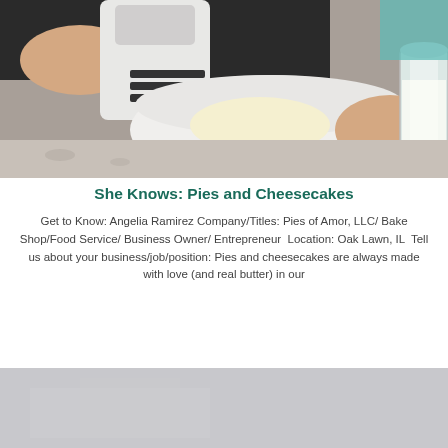[Figure (photo): A person using a white hand mixer in a white bowl, mixing what appears to be butter or cream cheese, on a granite countertop. A glass jar with white powder is visible on the right. Person is wearing a black shirt and has red nail polish.]
She Knows: Pies and Cheesecakes
Get to Know: Angelia Ramirez Company/Titles: Pies of Amor, LLC/ Bake Shop/Food Service/ Business Owner/ Entrepreneur  Location: Oak Lawn, IL  Tell us about your business/job/position: Pies and cheesecakes are always made with love (and real butter) in our
[Figure (photo): Bottom portion of a second photo, showing a gray/neutral background, partially visible.]